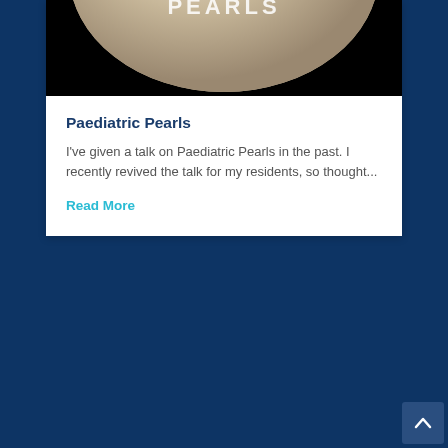[Figure (photo): Close-up of a pearl/sphere with text 'PEARLS' written on it against a dark background]
Paediatric Pearls
I've given a talk on Paediatric Pearls in the past. I recently revived the talk for my residents, so thought...
Read More